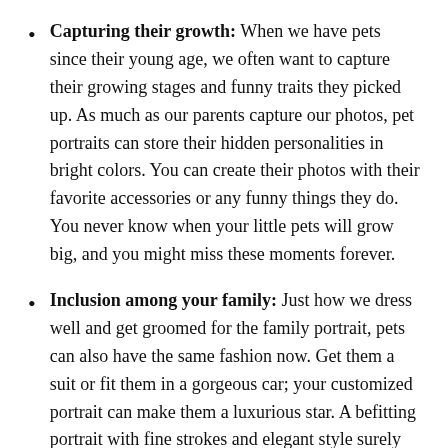Capturing their growth: When we have pets since their young age, we often want to capture their growing stages and funny traits they picked up. As much as our parents capture our photos, pet portraits can store their hidden personalities in bright colors. You can create their photos with their favorite accessories or any funny things they do. You never know when your little pets will grow big, and you might miss these moments forever.
Inclusion among your family: Just how we dress well and get groomed for the family portrait, pets can also have the same fashion now. Get them a suit or fit them in a gorgeous car; your customized portrait can make them a luxurious star. A befitting portrait with fine strokes and elegant style surely beats the photos we click on the phone, and now your pets can be among